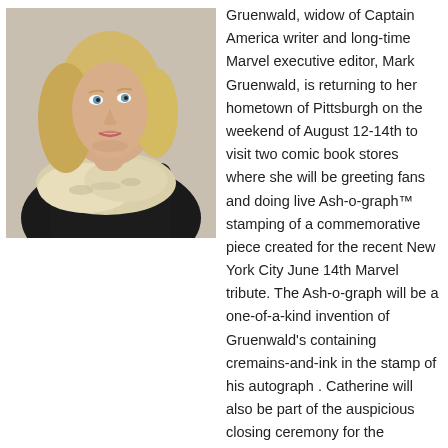[Figure (photo): Portrait of a blonde woman wearing a black outfit with a fur wrap/stole, looking upward to one side. Studio-style photo with neutral background.]
Gruenwald, widow of Captain America writer and long-time Marvel executive editor, Mark Gruenwald, is returning to her hometown of Pittsburgh on the weekend of August 12-14th to visit two comic book stores where she will be greeting fans and doing live Ash-o-graph™ stamping of a commemorative piece created for the recent New York City June 14th Marvel tribute. The Ash-o-graph will be a one-of-a-kind invention of Gruenwald's containing cremains-and-ink in the stamp of his autograph . Catherine will also be part of the auspicious closing ceremony for the Toonseum's Captain America exhibit on August 13th.